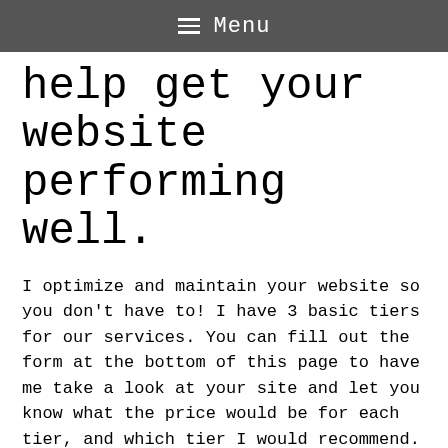≡ Menu
help get your website performing well.
I optimize and maintain your website so you don't have to! I have 3 basic tiers for our services. You can fill out the form at the bottom of this page to have me take a look at your site and let you know what the price would be for each tier, and which tier I would recommend.
Coaching
With this plan I will provide business owners with all of the information they need in order to drive more traffic to their website. From there the owner uses